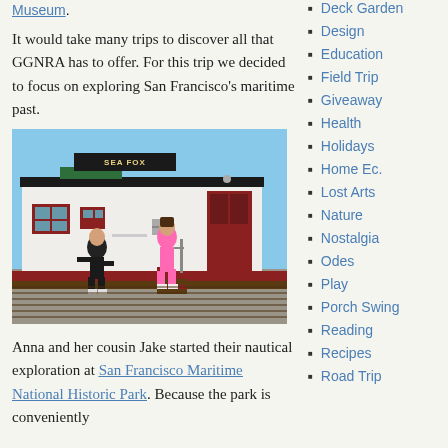Museum.
It would take many trips to discover all that GGNRA has to offer. For this trip we decided to focus on exploring San Francisco’s maritime past.
[Figure (photo): Photo of two children on a dock/gangway in front of a white building labeled 'SEA FOX' with red doors and windows. One child is in black clothing, the other in a pink outfit. Blue sky in background.]
Anna and her cousin Jake started their nautical exploration at San Francisco Maritime National Historic Park. Because the park is conveniently
Deck Garden
Design
Education
Field Trip
Giveaway
Health
Holidays
Home Ec.
Lost Arts
Nature
Nostalgia
Odes
Play
Porch Swing
Reading
Recipes
Road Trip